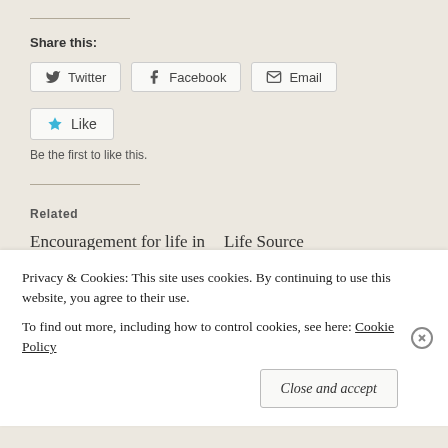Share this:
Twitter  Facebook  Email
Like  Be the first to like this.
Related
Encouragement for life in Christ- Day 54 – The
Life Source
June 6, 2014
Privacy & Cookies: This site uses cookies. By continuing to use this website, you agree to their use.
To find out more, including how to control cookies, see here: Cookie Policy
Close and accept